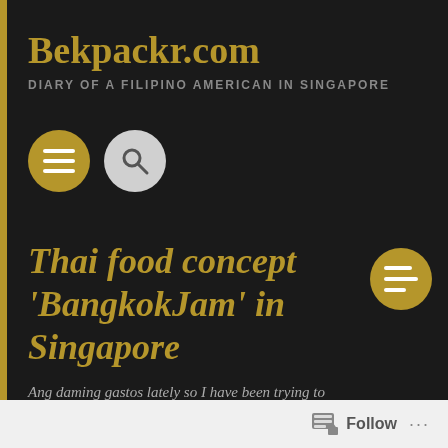Bekpackr.com
DIARY OF A FILIPINO AMERICAN IN SINGAPORE
[Figure (other): Navigation icons: hamburger menu (gold circle) and search icon (light gray circle)]
Thai food concept 'BangkokJam' in Singapore
[Figure (other): Menu icon in gold circle, top right of post title area]
Ang daming gastos lately so I have been trying to
Follow ...